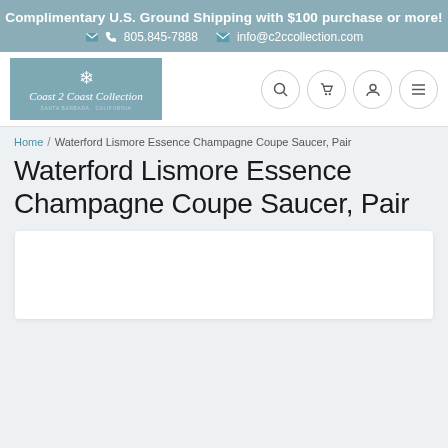Complimentary U.S. Ground Shipping with $100 purchase or more! 805.845-7888 info@c2ccollection.com
[Figure (logo): Coast 2 Coast Collection logo on teal/blue-grey background with decorative snowflake motif and italic serif text, subtitle: SANTA BARBARA CALIFORNIA]
Home / Waterford Lismore Essence Champagne Coupe Saucer, Pair
Waterford Lismore Essence Champagne Coupe Saucer, Pair
[Figure (photo): White product image box (empty/loading area)]